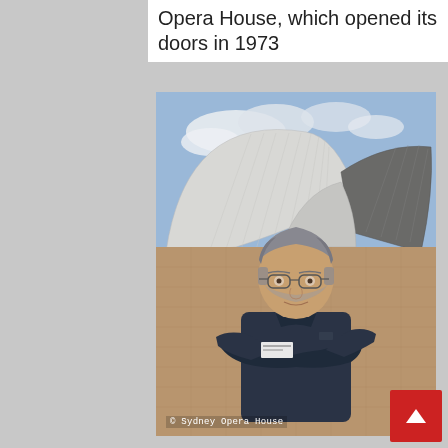Opera House, which opened its doors in 1973
[Figure (photo): A man with grey hair and glasses wearing a dark navy polo shirt with arms crossed, standing in front of the Sydney Opera House shells on the forecourt plaza. Blue sky and clouds visible behind the iconic white shell structures.]
© Sydney Opera House